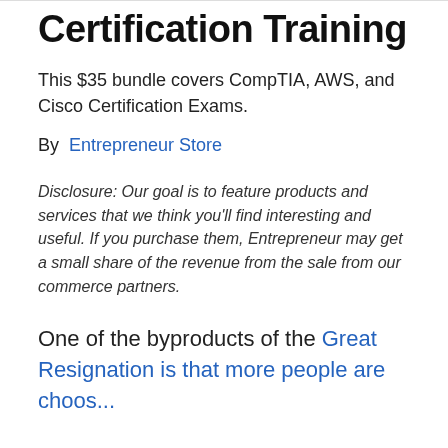Certification Training
This $35 bundle covers CompTIA, AWS, and Cisco Certification Exams.
By  Entrepreneur Store
Disclosure: Our goal is to feature products and services that we think you'll find interesting and useful. If you purchase them, Entrepreneur may get a small share of the revenue from the sale from our commerce partners.
One of the byproducts of the Great Resignation is that more people are choosing...